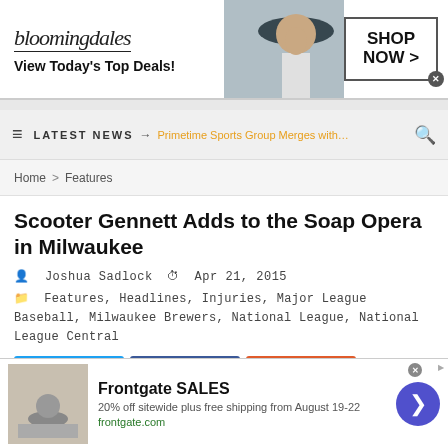[Figure (other): Bloomingdales advertisement banner with model wearing blue hat. Text: 'bloomingdales View Today's Top Deals!' and 'SHOP NOW >']
LATEST NEWS → Primetime Sports Group Merges with…
Home > Features
Scooter Gennett Adds to the Soap Opera in Milwaukee
Joshua Sadlock  Apr 21, 2015
Features, Headlines, Injuries, Major League Baseball, Milwaukee Brewers, National League, National League Central
[Figure (other): Frontgate SALES advertisement: '20% off sitewide plus free shipping from August 19-22. frontgate.com']